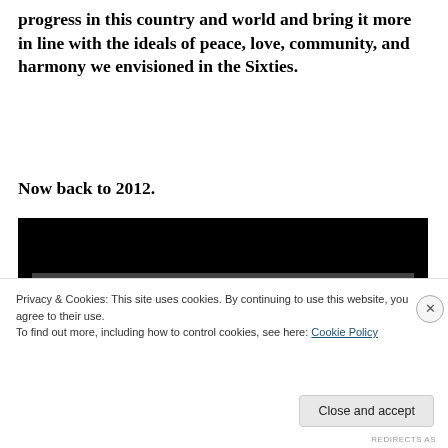progress in this country and world and bring it more in line with the ideals of peace, love, community, and harmony we envisioned in the Sixties.
Now back to 2012.
[Figure (screenshot): Embedded video screenshot with dark/black background and a partial gray content area visible at the bottom]
Privacy & Cookies: This site uses cookies. By continuing to use this website, you agree to their use.
To find out more, including how to control cookies, see here: Cookie Policy
Close and accept
REDIRECTS AS